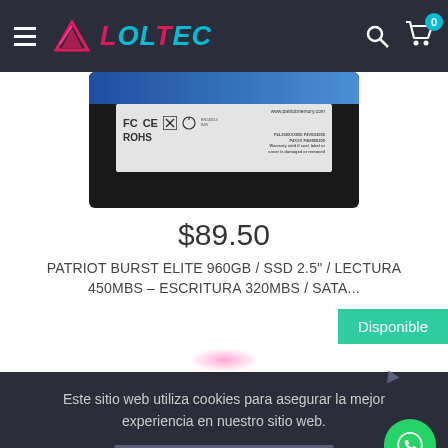LOLTEC
[Figure (photo): Patriot Burst Elite 960GB SSD 2.5 inch product image showing back label with FCC CE RoHS certifications and www.patriotmemory.com URL]
$89.50
PATRIOT BURST ELITE 960GB / SSD 2.5" / LECTURA 450MBS – ESCRITURA 320MBS / SATA...
Disponible
Este sitio web utiliza cookies para asegurar la mejor experiencia en nuestro sitio web.
Entendido
GetButton